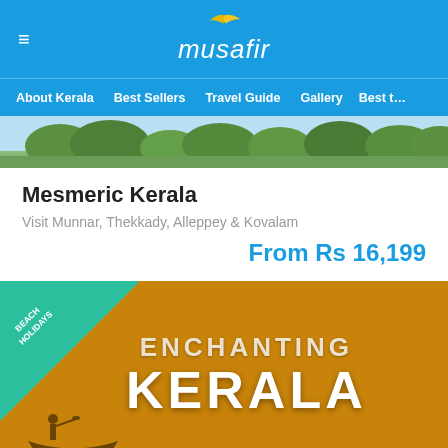musafir
About Kerala  Best Sellers  Travel Guide  Gallery  Best t…
[Figure (photo): Scenic Kerala backwaters landscape with palm trees and blue sky]
Mesmeric Kerala
Visit Munnar, Thekkady, Alleppey & Kovalam
From Rs 16,199
[Figure (photo): Enchanting Kerala promotional banner with golden/amber background, teal triangle corner badge reading BEACH HOLIDAYS, text ENCHANTING KERALA in white bold letters, and a silhouette of a person on a boat]